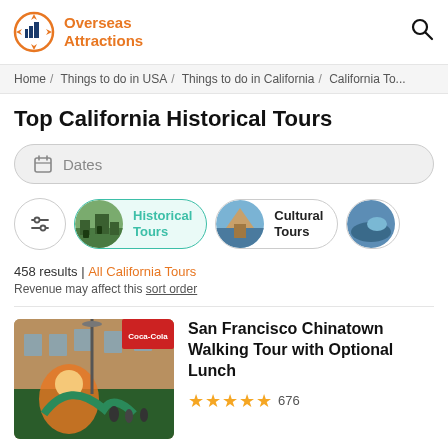Overseas Attractions
Home / Things to do in USA / Things to do in California / California To...
Top California Historical Tours
Dates
[Figure (other): Filter category pills: settings icon button, Historical Tours (active, teal), Cultural Tours, and partially visible third category]
458 results | All California Tours
Revenue may affect this sort order
[Figure (photo): Street scene in San Francisco Chinatown with colorful mural and storefronts]
San Francisco Chinatown Walking Tour with Optional Lunch
★★★★★ 676